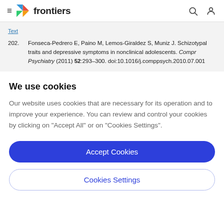frontiers
Text
202. Fonseca-Pedrero E, Paino M, Lemos-Giraldez S, Muniz J. Schizotypal traits and depressive symptoms in nonclinical adolescents. Compr Psychiatry (2011) 52:293–300. doi:10.1016/j.comppsych.2010.07.001
We use cookies
Our website uses cookies that are necessary for its operation and to improve your experience. You can review and control your cookies by clicking on "Accept All" or on "Cookies Settings".
Accept Cookies
Cookies Settings